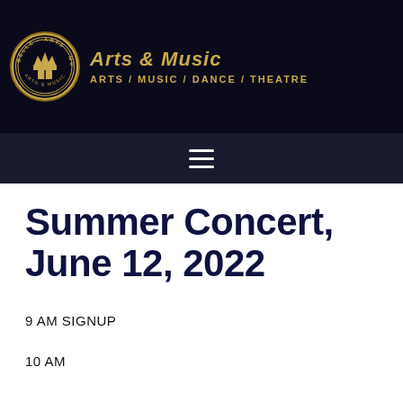[Figure (logo): Circular seal/logo of an Arts & Music institution with gold design on dark background]
Arts & Music ARTS / MUSIC / DANCE / THEATRE
Summer Concert, June 12, 2022
9 AM SIGNUP
10 AM